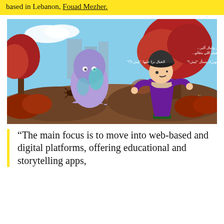based in Lebanon, Fouad Mezher.
[Figure (illustration): Illustrated children's book page with Arabic text. A cartoon girl wearing a purple coat and teal boots stands near an autumn red tree, facing a friendly purple ghost-like creature. The background shows a park in autumn colors with city buildings. Arabic text appears in the image.]
“The main focus is to move into web-based and digital platforms, offering educational and storytelling apps,